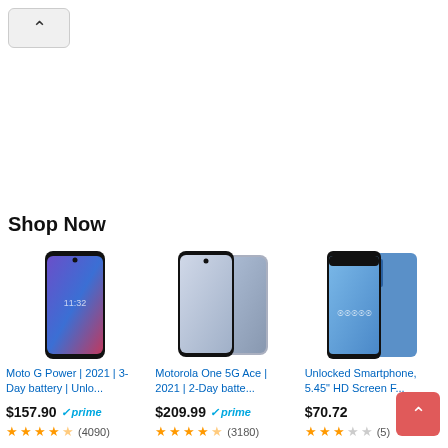[Figure (screenshot): Scroll up button at top left]
Shop Now
[Figure (photo): Moto G Power 2021 smartphone front view with blue/purple gradient wallpaper]
Moto G Power | 2021 | 3-Day battery | Unlo...
$157.90 prime
[Figure (photo): Motorola One 5G Ace 2021 smartphone front and back view in silver]
Motorola One 5G Ace | 2021 | 2-Day batte...
$209.99 prime
[Figure (photo): Unlocked Smartphone blue color showing front and back]
Unlocked Smartphone, 5.45" HD Screen F...
$70.72
[Figure (screenshot): Scroll up button at bottom right (red)]